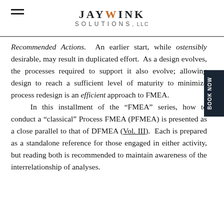Jay Wink Solutions, LLC
Recommended Actions. An earlier start, while ostensibly desirable, may result in duplicated effort. As a design evolves, the processes required to support it also evolve; allowing design to reach a sufficient level of maturity to minimize process redesign is an efficient approach to FMEA.

In this installment of the "FMEA" series, how to conduct a "classical" Process FMEA (PFMEA) is presented as a close parallel to that of DFMEA (Vol. III). Each is prepared as a standalone reference for those engaged in either activity, but reading both is recommended to maintain awareness of the interrelationship of analyses.